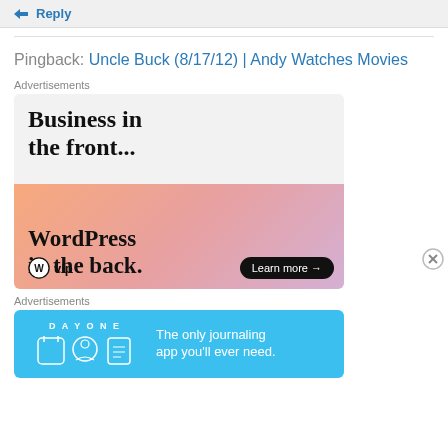↳ Reply
Pingback: Uncle Buck (8/17/12) | Andy Watches Movies
Advertisements
[Figure (illustration): WordPress VIP advertisement: 'Business in the front... WordPress in the back.' with Learn more button and WP VIP logo on colorful gradient background]
[Figure (illustration): Day One journaling app advertisement: 'The only journaling app you'll ever need.' on cyan/blue background with app icons]